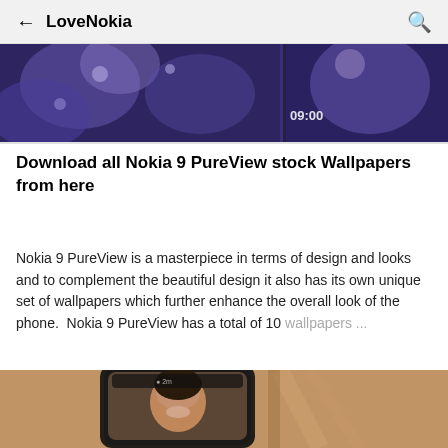← LoveNokia 🔍
[Figure (photo): Nokia 9 PureView phone showing wallpapers on split screen with blue crystal background and 09:00 time display]
Download all Nokia 9 PureView stock Wallpapers from here
Nokia 9 PureView is a masterpiece in terms of design and looks and to complement the beautiful design it also has its own unique set of wallpapers which further enhance the overall look of the phone.  Nokia 9 PureView has a total of 10 wallpapers ...
[Figure (photo): Nokia smartphone showing a woman smiling on screen, placed on a warm brown surface with shadows]